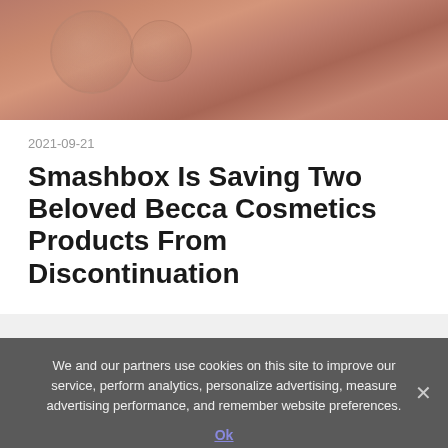[Figure (photo): Close-up photo of rose gold/copper-toned circular cosmetic containers or jar lids from a top-down perspective]
2021-09-21
Smashbox Is Saving Two Beloved Becca Cosmetics Products From Discontinuation
MEDICATIONS NEWS
We and our partners use cookies on this site to improve our service, perform analytics, personalize advertising, measure advertising performance, and remember website preferences.
Ok